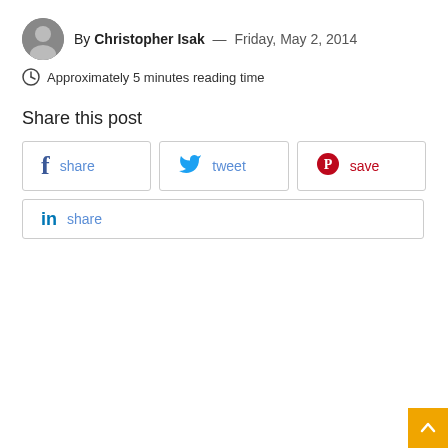By Christopher Isak — Friday, May 2, 2014
Approximately 5 minutes reading time
Share this post
[Figure (other): Social share buttons: Facebook share, Twitter tweet, Pinterest save, LinkedIn share]